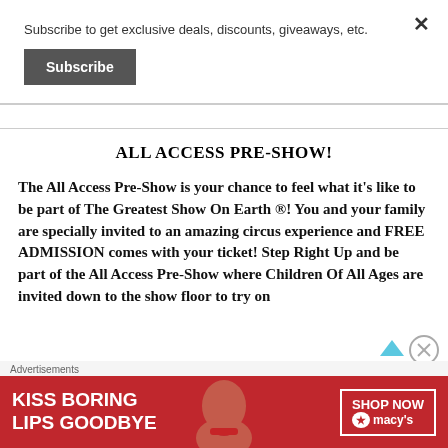Subscribe to get exclusive deals, discounts, giveaways, etc.
Subscribe
ALL ACCESS PRE-SHOW!
The All Access Pre-Show is your chance to feel what it's like to be part of The Greatest Show On Earth ®! You and your family are specially invited to an amazing circus experience and FREE ADMISSION comes with your ticket! Step Right Up and be part of the All Access Pre-Show where Children Of All Ages are invited down to the show floor to try on
Advertisements
[Figure (illustration): Advertisement banner: red background with woman's face, text 'KISS BORING LIPS GOODBYE' on left, 'SHOP NOW' box and Macy's logo on right]